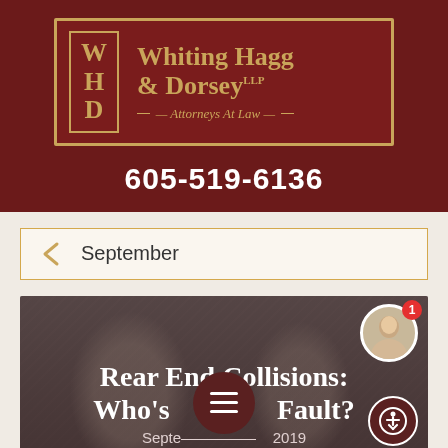[Figure (logo): Whiting Hagg & Dorsey LLP - Attorneys At Law logo with W H D initials in bordered box, gold text on dark red background]
605-519-6136
September
[Figure (photo): Article card with blurred background showing people near vehicles, title overlay: Rear End Collisions: Who's at Fault? with date September 2019. Hamburger menu icon and accessibility button overlaid.]